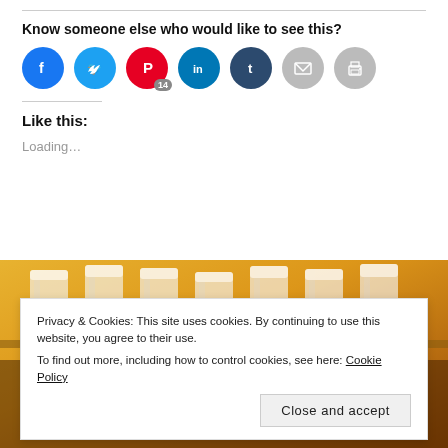Know someone else who would like to see this?
[Figure (infographic): Row of social sharing buttons: Facebook (blue), Twitter (blue), Pinterest (red) with badge 14, LinkedIn (teal), Tumblr (dark blue), Email (gray), Print (gray)]
Like this:
Loading...
[Figure (photo): Background photo of beer glasses/pints on a bar, warm amber tones]
Privacy & Cookies: This site uses cookies. By continuing to use this website, you agree to their use.
To find out more, including how to control cookies, see here: Cookie Policy
Close and accept